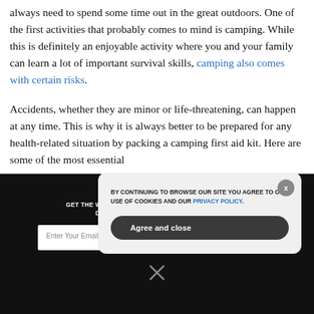always need to spend some time out in the great outdoors. One of the first activities that probably comes to mind is camping. While this is definitely an enjoyable activity where you and your family can learn a lot of important survival skills, camping also comes with certain risks.
Accidents, whether they are minor or life-threatening, can happen at any time. This is why it is always better to be prepared for any health-related situation by packing a camping first aid kit. Here are some of the most essential
GET THE WORLD'S BEST NATURAL HEALTH NEWSLETTER DELIVERED STRAIGHT TO YOUR INBOX
BY CONTINUING TO BROWSE OUR SITE YOU AGREE TO OUR USE OF COOKIES AND OUR PRIVACY POLICY.
Agree and close